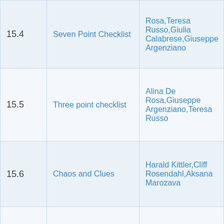| # | Title | Authors |
| --- | --- | --- |
| 15.4 | Seven Point Checklist | Rosa,Teresa Russo,Giulia Calabrese,Giuseppe Argenziano |
| 15.5 | Three point checklist | Alina De Rosa,Giuseppe Argenziano,Teresa Russo |
| 15.6 | Chaos and Clues | Harald Kittler,Cliff Rosendahl,Aksana Marozava |
| 15.7 | TADA | Ashfaq A. Marghoob,Natalia Jaimes |
|  |  | Harald Kittler,Cliff |